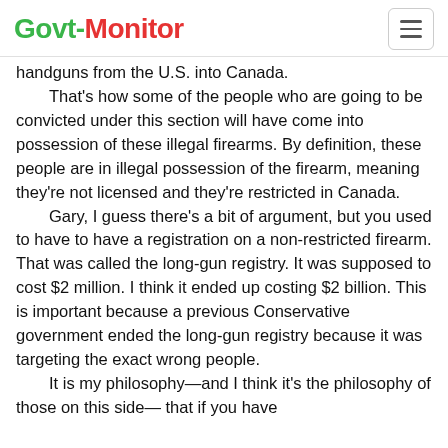Govt-Monitor
handguns from the U.S. into Canada.
    That's how some of the people who are going to be convicted under this section will have come into possession of these illegal firearms. By definition, these people are in illegal possession of the firearm, meaning they're not licensed and they're restricted in Canada.
    Gary, I guess there's a bit of argument, but you used to have to have a registration on a non-restricted firearm. That was called the long-gun registry. It was supposed to cost $2 million. I think it ended up costing $2 billion. This is important because a previous Conservative government ended the long-gun registry because it was targeting the exact wrong people.
    It is my philosophy—and I think it's the philosophy of those on this side— that if you have